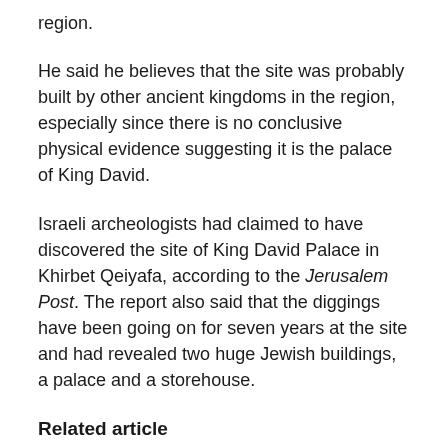region.
He said he believes that the site was probably built by other ancient kingdoms in the region, especially since there is no conclusive physical evidence suggesting it is the palace of King David.
Israeli archeologists had claimed to have discovered the site of King David Palace in Khirbet Qeiyafa, according to the Jerusalem Post. The report also said that the diggings have been going on for seven years at the site and had revealed two huge Jewish buildings, a palace and a storehouse.
Related article
King David's Palace Found? Biblical Archaeology Contentious (theepochtimes.com)